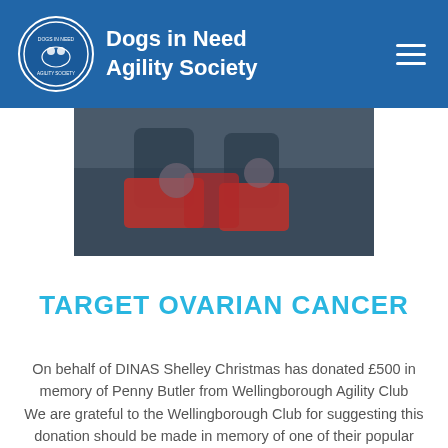Dogs in Need Agility Society
[Figure (photo): Photo of a person holding dogs wearing red outfits, partially cropped at top]
TARGET OVARIAN CANCER
On behalf of DINAS Shelley Christmas has donated £500 in memory of Penny Butler from Wellingborough Agility Club
We are grateful to the Wellingborough Club for suggesting this donation should be made in memory of one of their popular members PENNY BUTLER